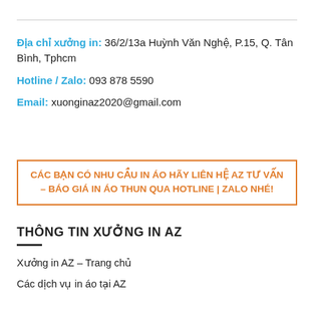Địa chỉ xưởng in: 36/2/13a Huỳnh Văn Nghệ, P.15, Q. Tân Bình, Tphcm
Hotline / Zalo: 093 878 5590
Email: xuonginaz2020@gmail.com
CÁC BẠN CÓ NHU CẦU IN ÁO HÃY LIÊN HỆ AZ TƯ VẤN – BÁO GIÁ IN ÁO THUN QUA HOTLINE | ZALO NHÉ!
THÔNG TIN XƯỞNG IN AZ
Xưởng in AZ – Trang chủ
Các dịch vụ in áo tại AZ